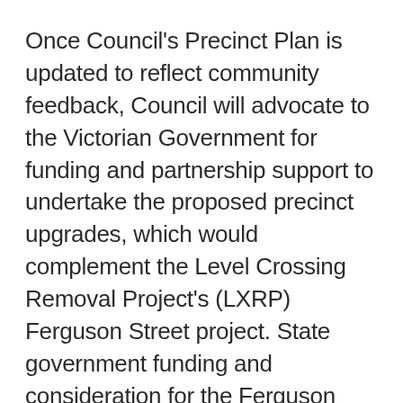Once Council's Precinct Plan is updated to reflect community feedback, Council will advocate to the Victorian Government for funding and partnership support to undertake the proposed precinct upgrades, which would complement the Level Crossing Removal Project's (LXRP) Ferguson Street project. State government funding and consideration for the Ferguson Street Precinct Upgrade is one of Council's Advocacy Priorities for 2020.
Long-standing concerns about community safety – including vehicular, cyclist, and pedestrian – and land-use in the precinct have informed Council's draft Plan, which features points to be additional to...